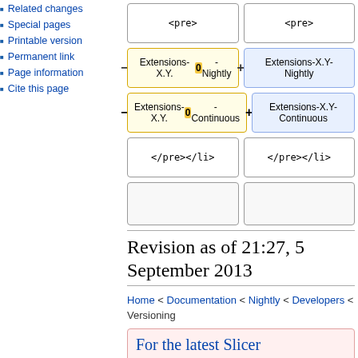Related changes
Special pages
Printable version
Permanent link
Page information
Cite this page
[Figure (other): Diff comparison diagram showing two columns of boxes: left column (yellow background) with Extensions-X.Y.0-Nightly and Extensions-X.Y.0-Continuous boxes with minus signs, right column (blue background) with Extensions-X.Y-Nightly and Extensions-X.Y-Continuous boxes with plus signs, plus pre and </pre></li> code boxes at top and bottom.]
Revision as of 21:27, 5 September 2013
Home < Documentation < Nightly < Developers < Versioning
For the latest Slicer